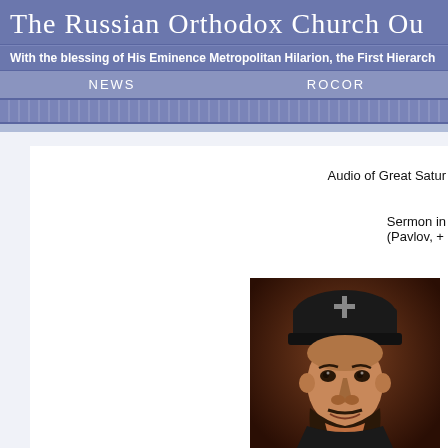The Russian Orthodox Church Ou
With the blessing of His Eminence Metropolitan Hilarion, the First Hierarch of the Russian Orthodox
NEWS   ROCOR
Audio of Great Satur
Sermon in (Pavlov, +
[Figure (photo): Portrait photo of a man wearing dark Orthodox clerical vestments and a black monastic hat with a cross emblem]